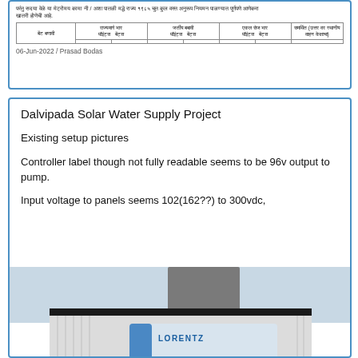[Figure (screenshot): Marathi document table with header text and a grid table showing columns for various items. Date line reads 06-Jun-2022 / Prasad Bodas.]
Dalvipada Solar Water Supply Project
Existing setup pictures
Controller label though not fully readable seems to be 96v output to pump.
Input voltage to panels seems 102(162??) to 300vdc,
[Figure (photo): Photo of a Lorentz PS1800 Solar Pump System Controller unit mounted outdoors, showing the label with brand name LORENTZ and model PS1800.]